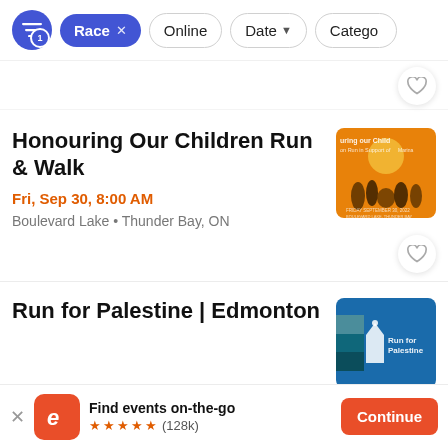Race × | Online | Date | Category
Honouring Our Children Run & Walk
Fri, Sep 30, 8:00 AM
Boulevard Lake • Thunder Bay, ON
Run for Palestine | Edmonton
Find events on-the-go ★★★★★ (128k)